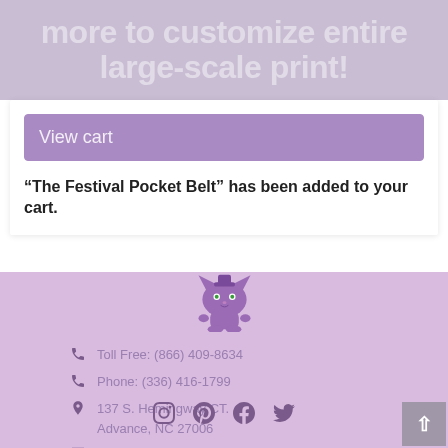[Figure (illustration): Partial banner text reading 'more to customize entire large-scale print!' in large white/grey translucent text on a light purple background]
[Figure (other): View cart button (purple) inside a white card box]
“The Festival Pocket Belt” has been added to your cart.
[Figure (logo): Studio Kat Designs logo: a purple cartoon cat/monster mascot]
Toll Free: (866) 409-8634
Phone: (336) 416-1799
137 S. Hemingway CT.
Advance, NC 27006
info@studiokatdesigns.com
[Figure (other): Social media icons: Instagram, Pinterest, Facebook, Twitter]